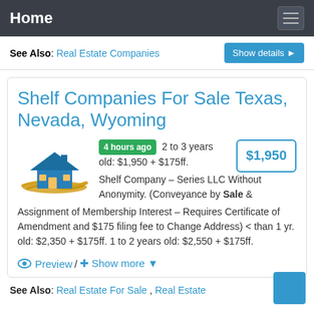Home
See Also: Real Estate Companies  Show details ▶
Shelf Companies For Sale Texas, Nevada, Wyoming
4 hours ago  2 to 3 years old: $1,950 + $175ff.  $1,950  Shelf Company – Series LLC Without Anonymity. (Conveyance by Sale & Assignment of Membership Interest – Requires Certificate of Amendment and $175 filing fee to Change Address) < than 1 yr. old: $2,350 + $175ff. 1 to 2 years old: $2,550 + $175ff.
👁 Preview / + Show more ▼
See Also: Real Estate For Sale , Real Estate